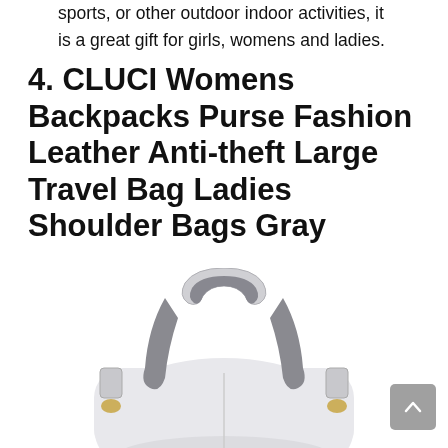sports, or other outdoor indoor activities, it is a great gift for girls, womens and ladies.
4. CLUCI Womens Backpacks Purse Fashion Leather Anti-theft Large Travel Bag Ladies Shoulder Bags Gray
[Figure (photo): A gray leather women's backpack viewed from behind, showing two short top handles and shoulder strap hardware with gold-tone clips, on a white background.]